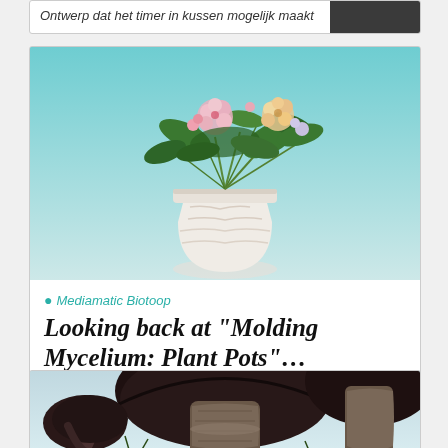[Figure (screenshot): Partially visible card with italic Dutch text: 'Ontwerp dat het timer in kussen mogelijk maakt']
[Figure (photo): Photo of a white mycelium plant pot holding colorful flowers (pink, orange, green foliage) against a teal/cyan background]
Mediamatic Biotoop
Looking back at "Molding Mycelium: Plant Pots"…
with Dominik Einfalt and Doudouce Knol
[Figure (photo): Photo of dark brown/purple mushrooms with thick stalks against a light blue background, partially visible]